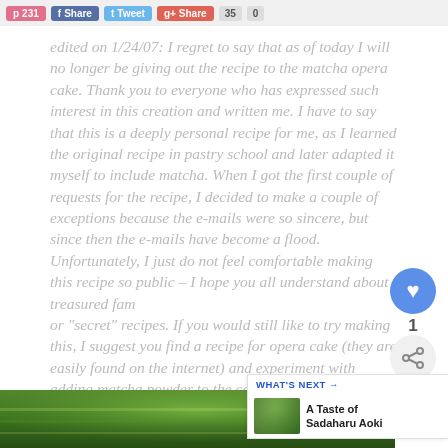p 231 | Share | Tweet | Share | 35 | 0
edited on 1/24/07: I regret to say that as of today I will no longer be giving out the recipe to the matcha opera cake. Thank you to everyone who has expressed such interest in this creation and written me. I have to say that this is a deeply personal recipe for me, as I learned the original recipe in pastry school and later adapted it myself to include matcha. When I got the first couple of requests for the recipe, I decided to make a couple of exceptions because the e-mails were so sincere, but since then the e-mails have become a flood. Unfortunately, I just do not feel comfortable making this recipe so public – I hope you all understand about treasured family or "secret" recipes. If you would still like to try making this, I suggest you find a recipe for opera cake (they are easily found on the internet) and experiment with adding matcha powder to the components. Thanks so much for understanding, and I hope you take advantage of the other recipes on this site!
[Figure (photo): Bottom portion showing a green/matcha colored layered cake or food item]